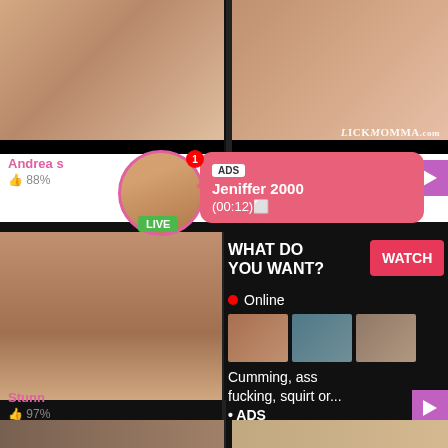[Figure (photo): Adult content thumbnail top left]
[Figure (photo): Adult content thumbnail top right with LickMomma.com watermark]
Andrea s
88%
[Figure (photo): Live user avatar with LIVE badge and notification badge showing 1]
ADS
Jeniffer 2000
(00:12)
[Figure (photo): Adult content thumbnail bottom left]
WHAT DO YOU WANT?
WATCH
Online
[Figure (photo): Three small adult content thumbnails]
Cumming, ass fucking, squirt or...
• ADS
Stunn
97%
[Figure (photo): Adult content thumbnail strip bottom left]
[Figure (photo): Adult content thumbnail strip bottom right]